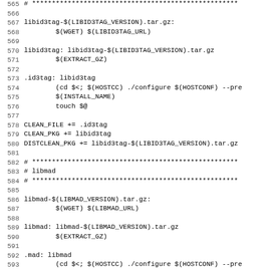Makefile code snippet lines 565-597 showing libid3tag and libmad build rules